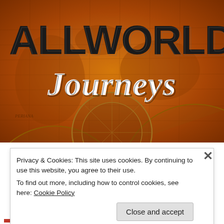[Figure (illustration): AllWorld Journeys logo banner over an antique world map background with compass rose and golden/orange tones. Large bold black text 'ALLWORLD' at top, cursive white italic 'Journeys' below.]
Privacy & Cookies: This site uses cookies. By continuing to use this website, you agree to their use.
To find out more, including how to control cookies, see here: Cookie Policy
Close and accept